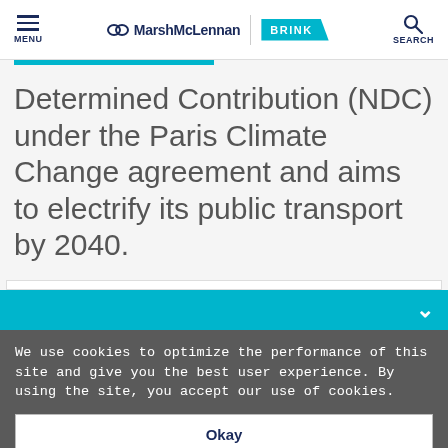MarshMcLennan BRINK — MENU | SEARCH
Determined Contribution (NDC) under the Paris Climate Change agreement and aims to electrify its public transport by 2040.
We use cookies to optimize the performance of this site and give you the best user experience. By using the site, you accept our use of cookies.
Okay
Manage Cookies